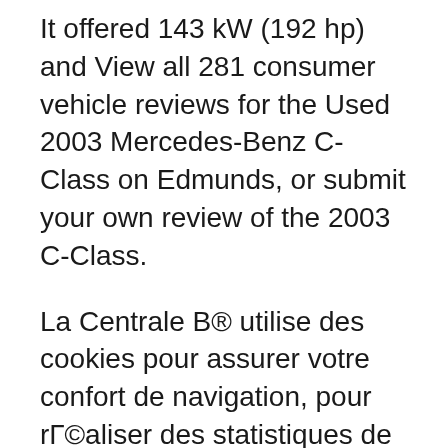It offered 143 kW (192 hp) and View all 281 consumer vehicle reviews for the Used 2003 Mercedes-Benz C-Class on Edmunds, or submit your own review of the 2003 C-Class.
La Centrale B® utilise des cookies pour assurer votre confort de navigation, pour rГ©aliser des statistiques de visites ainsi que pour vous proposer des services et вЂ¦ 2003 Mercedes-Benz C-Class Reviews: Read 39 candid owner reviews for the 2003 Mercedes-Benz C-Class. Get the real truth from owners like you.
12/03/2012В В· 2003 Mercedes-Benz C-Class C230 Kompressor Sports Evolution